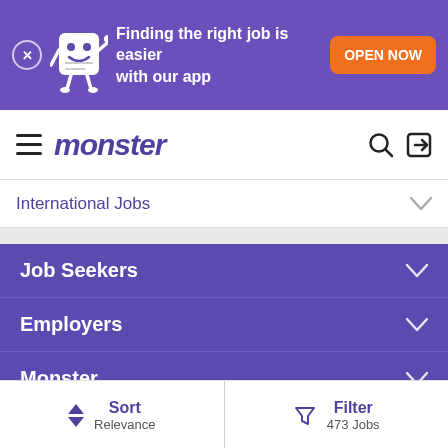[Figure (screenshot): Monster.com mobile app promotional banner with mascot character, text 'Finding the right job is easier with our app' and orange 'OPEN NOW' button]
monster
International Jobs
Job Seekers
Employers
Monster
Stay Connected
Legal
Sort Relevance
Filter 473 Jobs